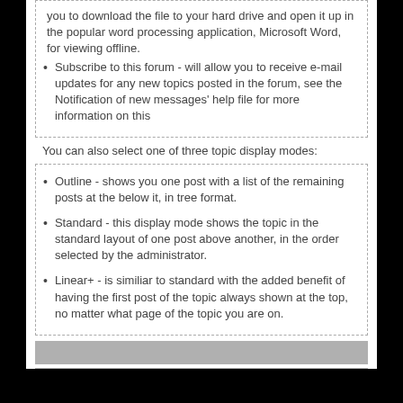you to download the file to your hard drive and open it up in the popular word processing application, Microsoft Word, for viewing offline.
Subscribe to this forum - will allow you to receive e-mail updates for any new topics posted in the forum, see the Notification of new messages' help file for more information on this
You can also select one of three topic display modes:
Outline - shows you one post with a list of the remaining posts at the below it, in tree format.
Standard - this display mode shows the topic in the standard layout of one post above another, in the order selected by the administrator.
Linear+ - is similiar to standard with the added benefit of having the first post of the topic always shown at the top, no matter what page of the topic you are on.
: 1st September 2022 - 11:09 AM
Powered By IP.Board 2.3.6 © 2022  IPS, Inc.